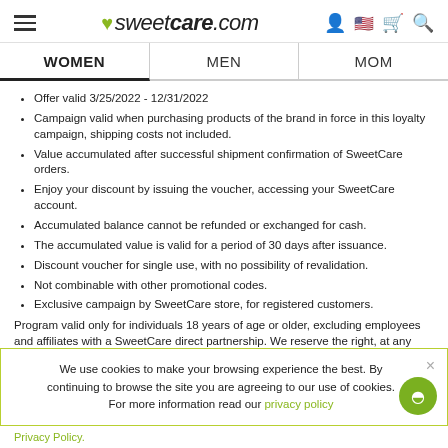sweetcare.com
WOMEN | MEN | MOM
Offer valid 3/25/2022 - 12/31/2022
Campaign valid when purchasing products of the brand in force in this loyalty campaign, shipping costs not included.
Value accumulated after successful shipment confirmation of SweetCare orders.
Enjoy your discount by issuing the voucher, accessing your SweetCare account.
Accumulated balance cannot be refunded or exchanged for cash.
The accumulated value is valid for a period of 30 days after issuance.
Discount voucher for single use, with no possibility of revalidation.
Not combinable with other promotional codes.
Exclusive campaign by SweetCare store, for registered customers.
Program valid only for individuals 18 years of age or older, excluding employees and affiliates with a SweetCare direct partnership. We reserve the right, at any time, to modify or discontinue this campaign, as well as
We use cookies to make your browsing experience the best. By continuing to browse the site you are agreeing to our use of cookies. For more information read our privacy policy
Privacy Policy.